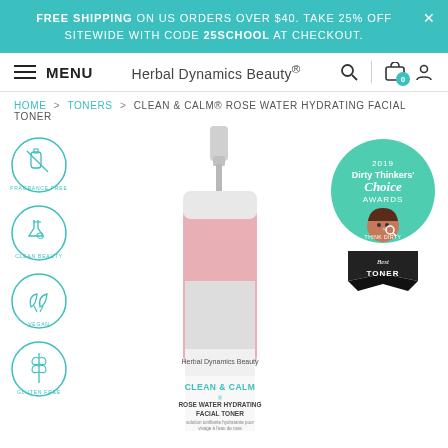FREE SHIPPING ON US ORDERS OVER $40. TAKE 25% OFF SITEWIDE WITH CODE 25SCHOOL AT CHECKOUT.
MENU | Herbal Dynamics Beauty® | Search | Cart (0) | Account
HOME > TONERS > CLEAN & CALM® ROSE WATER HYDRATING FACIAL TONER
[Figure (photo): Product bottle of Herbal Dynamics Beauty Clean & Calm Rose Water Hydrating Facial Toner with pump dispenser, pink-colored bottle with white cap and label]
[Figure (illustration): Four circular badge icons: Fragrance Free, Clean Beauty, Vegan, Gluten Free - each with teal outline illustration]
[Figure (illustration): 2019 Dirty Thinkers Choice Awards badge with teal circle showing illustrated character, black ribbon banner reading Best Toner]